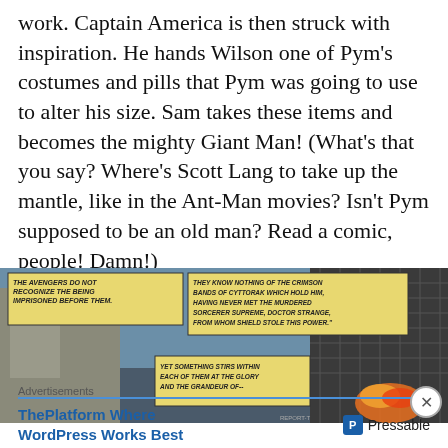work. Captain America is then struck with inspiration. He hands Wilson one of Pym's costumes and pills that Pym was going to use to alter his size. Sam takes these items and becomes the mighty Giant Man! (What's that you say? Where's Scott Lang to take up the mantle, like in the Ant-Man movies? Isn't Pym supposed to be an old man? Read a comic, people! Damn!)
[Figure (illustration): Comic book panel showing the Avengers in what appears to be a hangar or base. Two yellow caption boxes read: 'THE AVENGERS DO NOT RECOGNIZE THE BEING IMPRISONED BEFORE THEM.' and 'THEY KNOW NOTHING OF THE CRIMSON BANDS OF CYTTORAK WHICH HOLD HIM, HAVING NEVER MET THE MURDERED SORCERER SUPREME, DOCTOR STRANGE, FROM WHOM SHIELD STOLE THIS POWER.' A third caption box reads: 'YET SOMETHING STIRS WITHIN EACH OF THEM AT THE GLORY AND THE GRANDEUR OF--']
Advertisements
ThePlatform Where WordPress Works Best   P Pressable